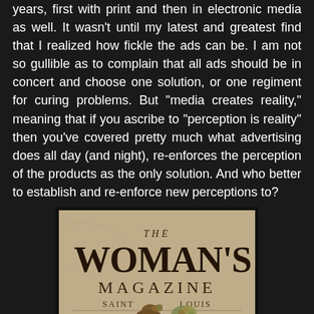years, first with print and then in electronic media as well. It wasn't until my latest and greatest find that I realized how fickle the ads can be. I am not so gullible as to complain that all ads should be in concert and choose one solution, or one regiment for curing problems. But "media creates reality," meaning that if you ascribe to "perception is reality" then you've covered pretty much what advertising does all day (and night), re-enforces the perception of the products as the only solution. And who better to establish and re-enforce new perceptions to?
[Figure (photo): Vintage magazine cover of 'The Woman's Magazine' from Saint Louis, October issue. Features an illustrated woman in Victorian-era dress holding flowers. Text reads '1 CENT PER COPY' and '10 CENTS PER YEAR'. Sepia/aged tone.]